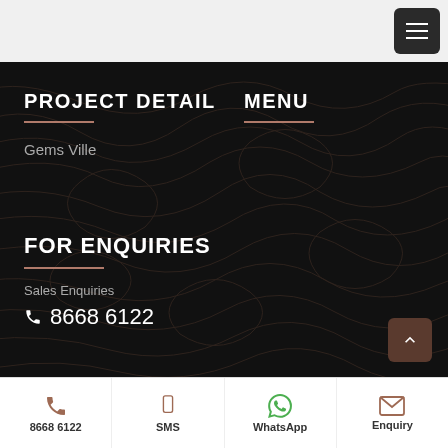[Figure (screenshot): Dark navigation/footer page for a real estate project 'Gems Ville' showing project detail, menu, enquiries sections and a bottom contact bar with call, SMS, WhatsApp, Enquiry options.]
PROJECT DETAIL
MENU
Gems Ville
FOR ENQUIRIES
Sales Enquiries
8668 6122
8668 6122  SMS  WhatsApp  Enquiry